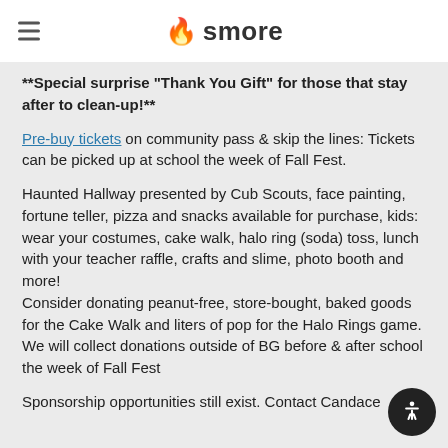smore
**Special surprise "Thank You Gift" for those that stay after to clean-up!**
Pre-buy tickets on community pass & skip the lines: Tickets can be picked up at school the week of Fall Fest.
Haunted Hallway presented by Cub Scouts, face painting, fortune teller, pizza and snacks available for purchase, kids: wear your costumes, cake walk, halo ring (soda) toss, lunch with your teacher raffle, crafts and slime, photo booth and more!
Consider donating peanut-free, store-bought, baked goods for the Cake Walk and liters of pop for the Halo Rings game. We will collect donations outside of BG before & after school the week of Fall Fest
Sponsorship opportunities still exist. Contact Candace